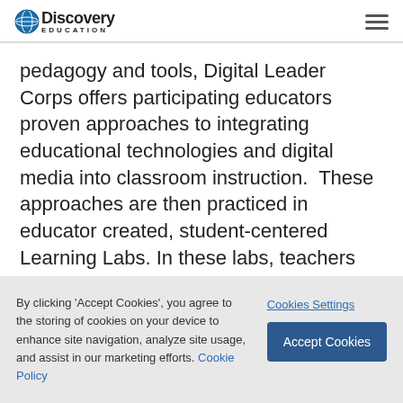Discovery Education
pedagogy and tools, Digital Leader Corps offers participating educators proven approaches to integrating educational technologies and digital media into classroom instruction. These approaches are then practiced in educator created, student-centered Learning Labs. In these labs, teachers practice and adapt their
By clicking 'Accept Cookies', you agree to the storing of cookies on your device to enhance site navigation, analyze site usage, and assist in our marketing efforts. Cookie Policy
Cookies Settings
Accept Cookies